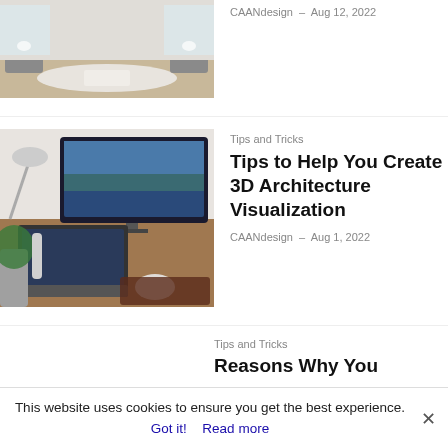[Figure (photo): Interior living room with fireplace and sofas]
CAANdesign – Aug 12, 2022
[Figure (photo): Desk setup with monitor, laptop, lamp and mouse]
Tips and Tricks
Tips to Help You Create 3D Architecture Visualization
CAANdesign – Aug 1, 2022
Tips and Tricks
Reasons Why You
This website uses cookies to ensure you get the best experience.
Got it!  Read more